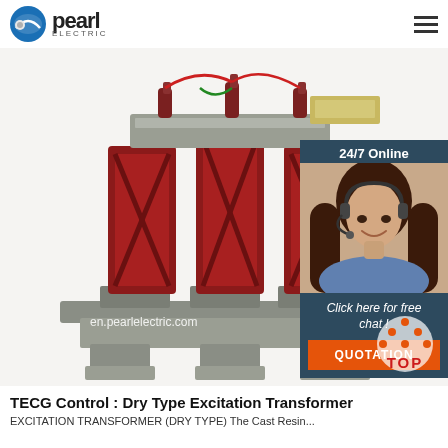Pearl Electric
[Figure (photo): Dry type excitation transformer with red resin-cast coils mounted on gray steel frame, with wired bushing connections at top. Overlay text: en.pearlelectric.com]
[Figure (infographic): 24/7 Online chat panel with dark teal background, showing a smiling woman with headset, text 'Click here for free chat!' and orange QUOTATION button]
[Figure (infographic): TOP scroll-to-top icon with orange triangle arrows and red TOP text]
TECG Control : Dry Type Excitation Transformer
EXCITATION TRANSFORMER (DRY TYPE) The Cast Resin...